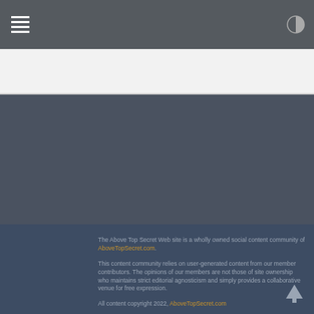AboveTopSecret.com navigation bar with hamburger menu and contrast toggle
The Above Top Secret Web site is a wholly owned social content community of AboveTopSecret.com.

This content community relies on user-generated content from our member contributors. The opinions of our members are not those of site ownership who maintains strict editorial agnosticism and simply provides a collaborative venue for free expression.

All content copyright 2022, AboveTopSecret.com